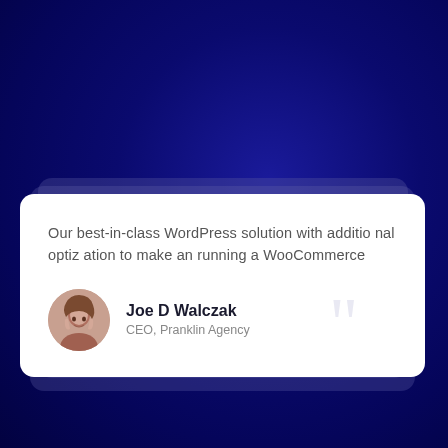[Figure (illustration): Dark blue radial gradient background with decorative stacked translucent card layers behind the main white testimonial card]
Our best-in-class WordPress solution with additio nal optiz ation to make an running a WooCommerce
Joe D Walczak
CEO, Pranklin Agency